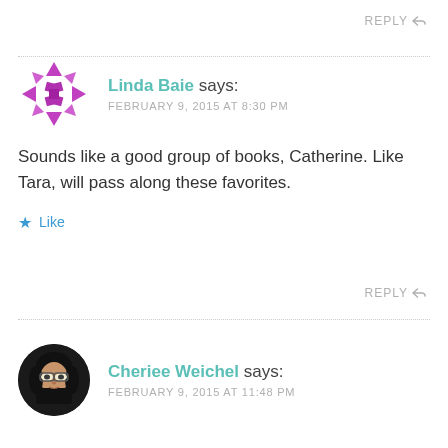REPLY
Linda Baie says:
FEBRUARY 9, 2015 AT 8:30 PM
Sounds like a good group of books, Catherine. Like Tara, will pass along these favorites.
Like
REPLY
Cheriee Weichel says:
FEBRUARY 9, 2015 AT 11:48 PM